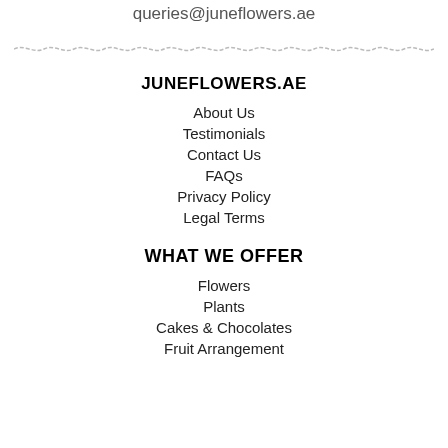queries@juneflowers.ae
JUNEFLOWERS.AE
About Us
Testimonials
Contact Us
FAQs
Privacy Policy
Legal Terms
WHAT WE OFFER
Flowers
Plants
Cakes & Chocolates
Fruit Arrangement